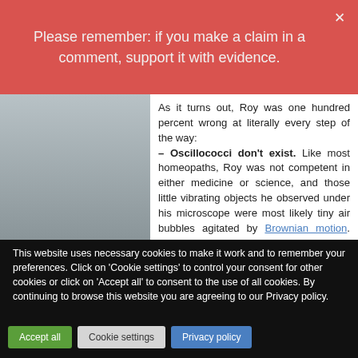Please remember: if you make a claim in a comment, support it with evidence.
As it turns out, Roy was one hundred percent wrong at literally every step of the way: – Oscillococci don't exist. Like most homeopaths, Roy was not competent in either medicine or science, and those little vibrating objects he observed under his microscope were most likely tiny air bubbles agitated by Brownian motion. Other clues are that Roy was the only person in the world to observe these oscillococci, and that he found them
This website uses necessary cookies to make it work and to remember your preferences. Click on 'Cookie settings' to control your consent for other cookies or click on 'Accept all' to consent to the use of all cookies. By continuing to browse this website you are agreeing to our Privacy policy.
Accept all
Cookie settings
Privacy policy